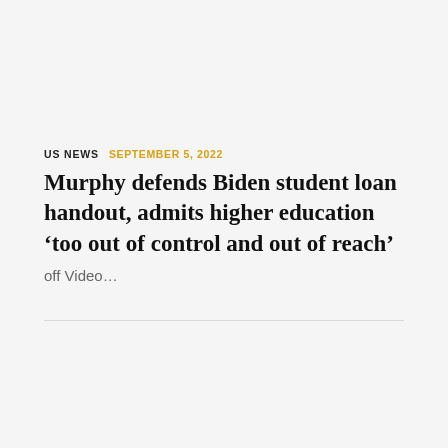US NEWS   SEPTEMBER 5, 2022
Murphy defends Biden student loan handout, admits higher education ‘too out of control and out of reach’  off Video…